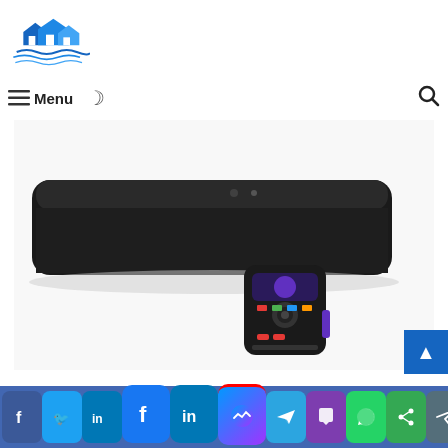[Figure (logo): Blue house/roof logo with water waves, company logo in top-left]
≡ Menu ☽ 🔍
[Figure (photo): Black Roku soundbar with remote control, product photo on white background]
[Figure (infographic): Social media share bar at bottom with icons: Facebook, Twitter, LinkedIn, Facebook (large), LinkedIn (large), Messenger, Telegram, Viber, WhatsApp, Share, Send, Phone]